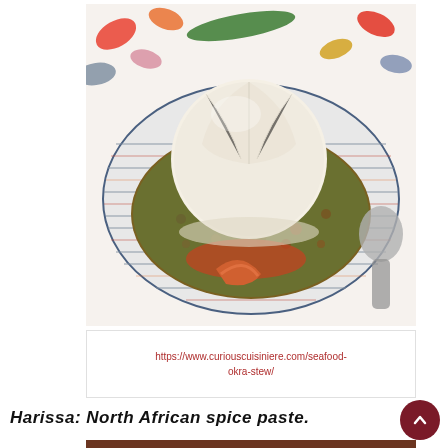[Figure (photo): A plate of seafood okra stew with a ball of fufu/pounded yam on top and a shrimp visible, served in a striped bowl on a floral tablecloth with a spoon on the side]
https://www.curiouscuisiniere.com/seafood-okra-stew/
Harissa: North African spice paste.
[Figure (photo): Partial view of another food photo at the bottom of the page]